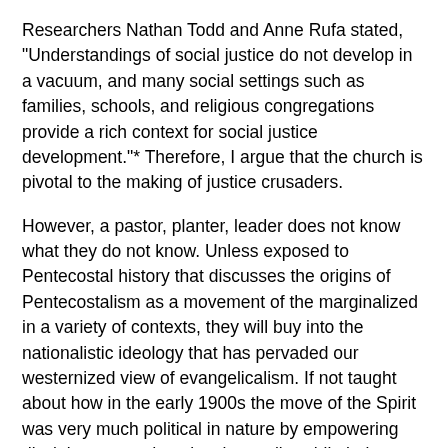Researchers Nathan Todd and Anne Rufa stated, "Understandings of social justice do not develop in a vacuum, and many social settings such as families, schools, and religious congregations provide a rich context for social justice development."* Therefore, I argue that the church is pivotal to the making of justice crusaders.
However, a pastor, planter, leader does not know what they do not know. Unless exposed to Pentecostal history that discusses the origins of Pentecostalism as a movement of the marginalized in a variety of contexts, they will buy into the nationalistic ideology that has pervaded our westernized view of evangelicalism. If not taught about how in the early 1900s the move of the Spirit was very much political in nature by empowering disciples to stand against inequality while being victimized themselves, they will believe the narrative always taught, evangelism is the only purpose of the church.